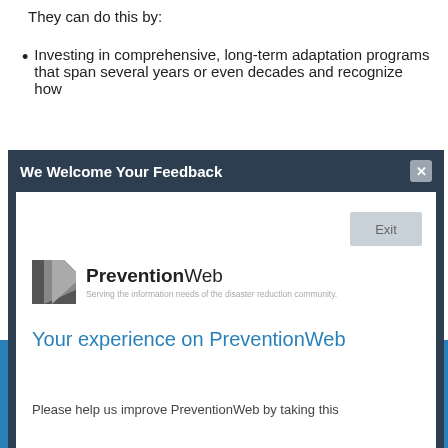They can do this by:
Investing in comprehensive, long-term adaptation programs that span several years or even decades and recognize how
[Figure (screenshot): A modal dialog from PreventionWeb with title 'We Welcome Your Feedback', showing the PreventionWeb logo, a survey title 'Your experience on PreventionWeb', text 'Please help us improve PreventionWeb by taking this', an Exit button, a close (x) button, and a 'powered by SurveyMonkey' footer bar.]
GOT IT!